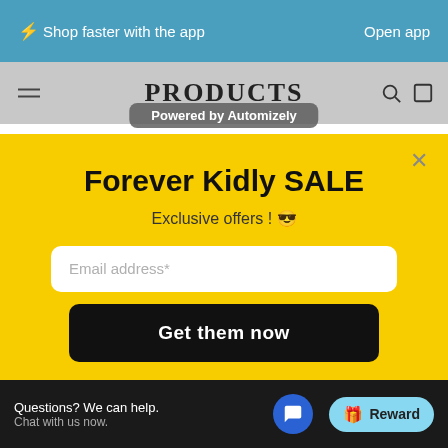⚡Shop faster with the app    Open app
PRODUCTS
Powered by Automizely
SHOP NOW
Forever Kidly SALE
Exclusive offers ! 😎
Email address*
Get them now
Questions? We can help. Chat with us now.
Reward